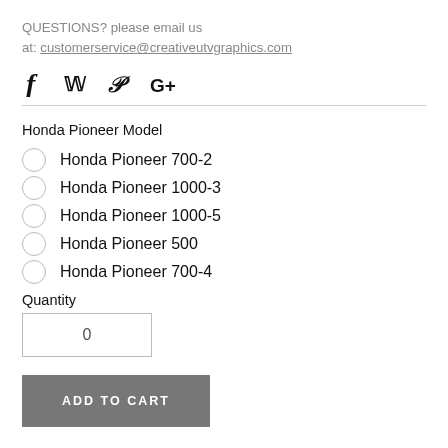QUESTIONS? please email us at: customerservice@creativeutvgraphics.com
[Figure (infographic): Social media icons: Facebook (f), Twitter (bird), Pinterest (P), Google+ (G+)]
Honda Pioneer Model
Honda Pioneer 700-2
Honda Pioneer 1000-3
Honda Pioneer 1000-5
Honda Pioneer 500
Honda Pioneer 700-4
Quantity
0
ADD TO CART